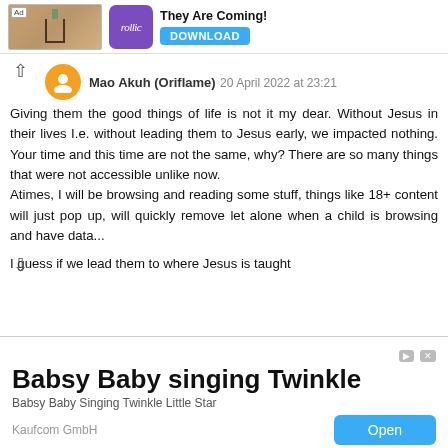[Figure (screenshot): Top advertisement banner for 'They Are Coming!' game by Rollic, showing a wooden table background image with rollic purple logo and a DOWNLOAD button]
Mao Akuh (Oriflame)  20 April 2022 at 23:21
Giving them the good things of life is not it my dear. Without Jesus in their lives I.e. without leading them to Jesus early, we impacted nothing. Your time and this time are not the same, why? There are so many things that were not accessible unlike now.
Atimes, I will be browsing and reading some stuff, things like 18+ content will just pop up, will quickly remove let alone when a child is browsing and have data...
I guess if we lead them to where Jesus is taught
[Figure (screenshot): Bottom advertisement banner for 'Babsy Baby singing Twinkle' app by Kaufcom GmbH, with an Open button]